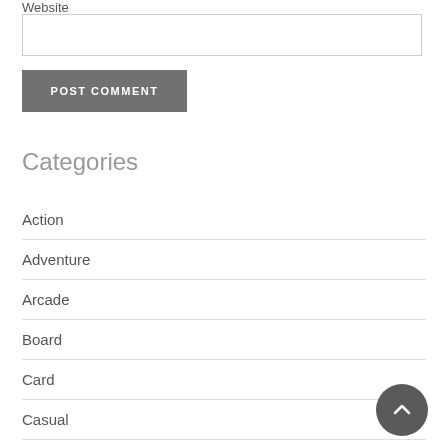Website
POST COMMENT
Categories
Action
Adventure
Arcade
Board
Card
Casual